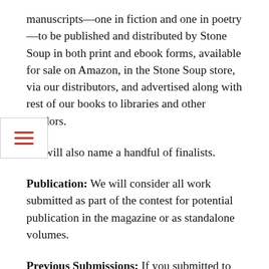manuscripts—one in fiction and one in poetry—to be published and distributed by Stone Soup in both print and ebook forms, available for sale on Amazon, in the Stone Soup store, via our distributors, and advertised along with rest of our books to libraries and other vendors.
We will also name a handful of finalists.
Publication: We will consider all work submitted as part of the contest for potential publication in the magazine or as standalone volumes.
Previous Submissions: If you submitted to last year's contest and have substantially revised your manuscript in the meantime, you are welcome to resubmit it this year.
Submission Fee: The submission fee is important to us; it helps us defray the costs of the contest and of producing and publishing the two winning books. However, if the